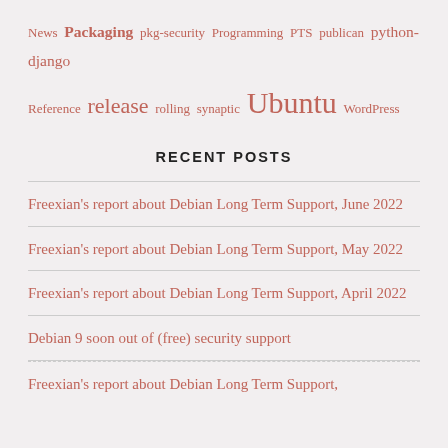News Packaging pkg-security Programming PTS publican python-django Reference release rolling synaptic Ubuntu WordPress
RECENT POSTS
Freexian's report about Debian Long Term Support, June 2022
Freexian's report about Debian Long Term Support, May 2022
Freexian's report about Debian Long Term Support, April 2022
Debian 9 soon out of (free) security support
Freexian's report about Debian Long Term Support,